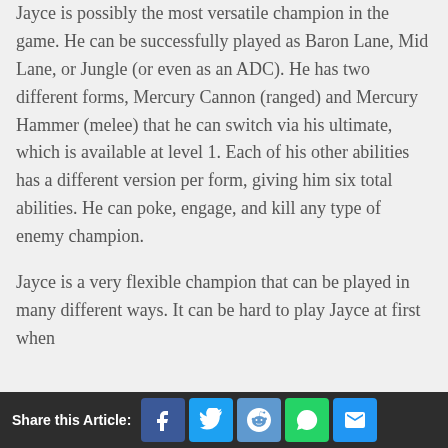Jayce is possibly the most versatile champion in the game. He can be successfully played as Baron Lane, Mid Lane, or Jungle (or even as an ADC). He has two different forms, Mercury Cannon (ranged) and Mercury Hammer (melee) that he can switch via his ultimate, which is available at level 1. Each of his other abilities has a different version per form, giving him six total abilities. He can poke, engage, and kill any type of enemy champion.
Jayce is a very flexible champion that can be played in many different ways. It can be hard to play Jayce at first when
Share this Article: [Facebook] [Twitter] [Reddit] [WhatsApp] [Email]